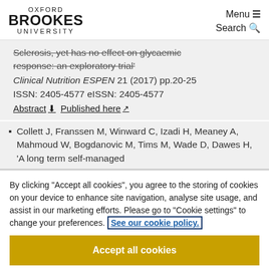OXFORD BROOKES UNIVERSITY | Menu ☰ | Search 🔍
Sclerosis, yet has no effect on glycaemic response: an exploratory trial'
Clinical Nutrition ESPEN 21 (2017) pp.20-25
ISSN: 2405-4577 eISSN: 2405-4577
Abstract ⊙ Published here ↗
Collett J, Franssen M, Winward C, Izadi H, Meaney A, Mahmoud W, Bogdanovic M, Tims M, Wade D, Dawes H, 'A long term self-managed
By clicking "Accept all cookies", you agree to the storing of cookies on your device to enhance site navigation, analyse site usage, and assist in our marketing efforts. Please go to "Cookie settings" to change your preferences. See our cookie policy.
Accept all cookies
Cookie settings